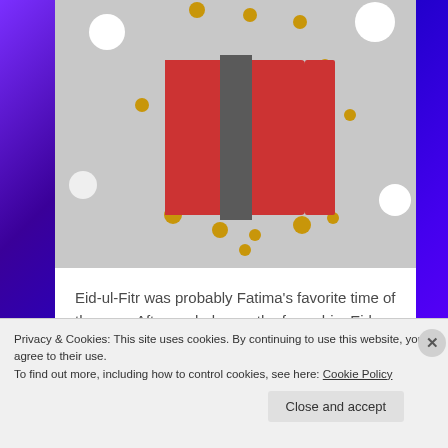[Figure (illustration): Top portion of a webpage showing a decorative gift box illustration on a light gray background with gold dots/circles and white circles scattered around. The gift box is red with a dark gray/charcoal ribbon/stripe across the middle. Purple/blue sparkle background visible on left and right sides of screen.]
Eid-ul-Fitr was probably Fatima’s favorite time of the year. After a whole month of worship, Eid was the time for celebration. Fatima loved everything about Eid; the new clothes, the bangles, the Henna. She especially enjoyed waking up early in the morning to go to the Masjid with the rest of her family to offer...
Continue Reading →
Privacy & Cookies: This site uses cookies. By continuing to use this website, you agree to their use.
To find out more, including how to control cookies, see here: Cookie Policy
Close and accept